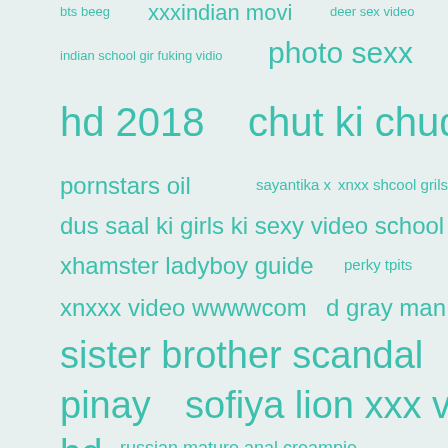[Figure (infographic): Word cloud with search terms in various font sizes, all in teal/turquoise color on light gray-blue background. Terms include: bts beeg, xxxindian movi, deer sex video, indian school gir fuking vidio, photo sexx, hd 2018, chut ki chudai, pornstars oil, sayantika x, xnxx shcool grils, dus saal ki girls ki sexy video school, xhamster ladyboy guide, perky tpits, xnxxx video wwwwcom, d gray man, sister brother scandal, pinay, sofiya lion xxx video, hd, russian mature anal creampie, 90s trailer, indian talung]